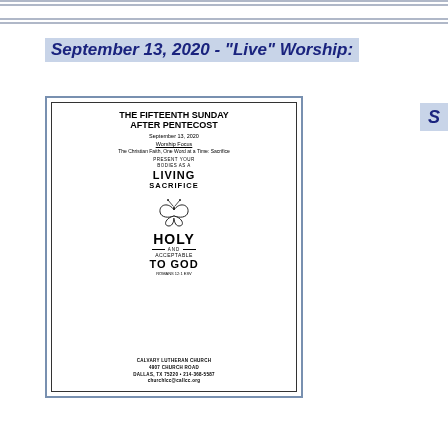September 13, 2020 - "Live" Worship:
[Figure (illustration): Church bulletin cover for The Fifteenth Sunday After Pentecost, September 13, 2020. Worship Focus: The Christian Faith, One Word at a Time: Sacrifice. Large text reads 'PRESENT YOUR BODIES AS A LIVING SACRIFICE HOLY AND ACCEPTABLE TO GOD' with a butterfly illustration. Bottom shows Calvary Lutheran Church, 4907 Church Road, Dallas, TX 75220, 214-368-5587, churchlcc@callcc.org]